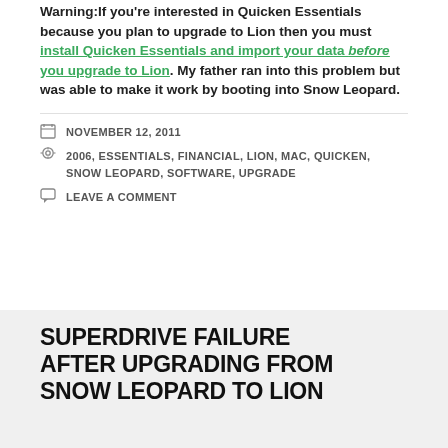Warning:If you're interested in Quicken Essentials because you plan to upgrade to Lion then you must install Quicken Essentials and import your data before you upgrade to Lion. My father ran into this problem but was able to make it work by booting into Snow Leopard.
NOVEMBER 12, 2011
2006, ESSENTIALS, FINANCIAL, LION, MAC, QUICKEN, SNOW LEOPARD, SOFTWARE, UPGRADE
LEAVE A COMMENT
SUPERDRIVE FAILURE AFTER UPGRADING FROM SNOW LEOPARD TO LION